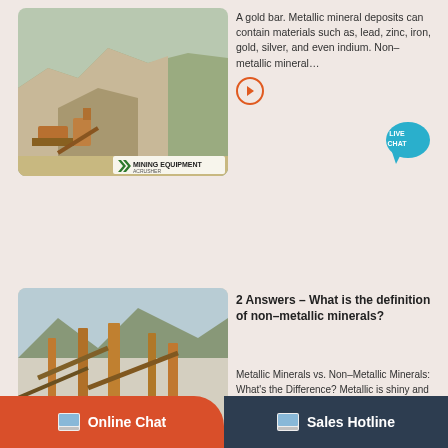[Figure (photo): Mining equipment and quarry site, branded with MINING EQUIPMENT ACRUSHER watermark]
A gold bar. Metallic mineral deposits can contain materials such as, lead, zinc, iron, gold, silver, and even indium. Non-metallic mineral…
[Figure (photo): Mining equipment industrial facility, branded with MINING EQUIPMENT ACRUSHER watermark]
2 Answers – What is the definition of non-metallic minerals?
Metallic Minerals vs. Non-Metallic Minerals: What's the Difference? Metallic is shiny and reflective. They're opaque, mirror-like. Non-…
[Figure (photo): Quarry mining site with excavated hillside, branded with MINING EQUIPMENT ACRUSHER watermark]
What are non-metallic minerals? | Reference
Full Answer. Sand, limestone, marble, clay and salt are all examples of non-metallic minerals. They are not recyclable because they can not…
Online Chat   Sales Hotline